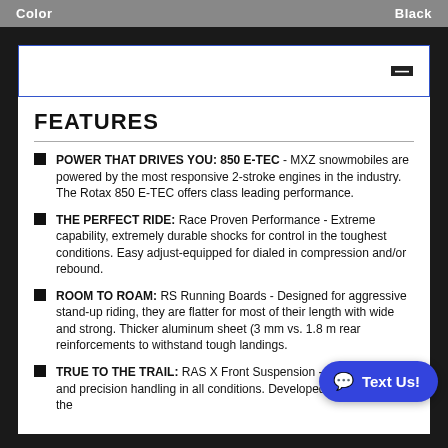| Color | Black |
| --- | --- |
FEATURES
POWER THAT DRIVES YOU: 850 E-TEC - MXZ snowmobiles are powered by the most responsive 2-stroke engines in the industry. The Rotax 850 E-TEC offers class leading performance.
THE PERFECT RIDE: Race Proven Performance - Extreme capability, extremely durable shocks for control in the toughest conditions. Easy adjust-equipped for dialed in compression and/or rebound.
ROOM TO ROAM: RS Running Boards - Designed for aggressive stand-up riding, they are flatter for most of their length with wide and strong. Thicker aluminum sheet (3 mm vs. 1.8 m rear reinforcements to withstand tough landings.
TRUE TO THE TRAIL: RAS X Front Suspension - Flatter cornering and precision handling in all conditions. Developed in tandem with the